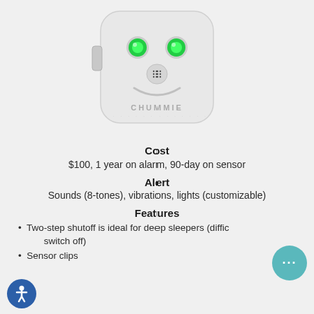[Figure (photo): White Chummie bedwetting alarm device with smiley face design — two green LED 'eyes', a speaker 'nose', and a curved smile, with the brand name CHUMMIE embossed at the bottom]
Cost
$100, 1 year on alarm, 90-day on sensor
Alert
Sounds (8-tones), vibrations, lights (customizable)
Features
Two-step shutoff is ideal for deep sleepers (diffic… switch off)
Sensor clips